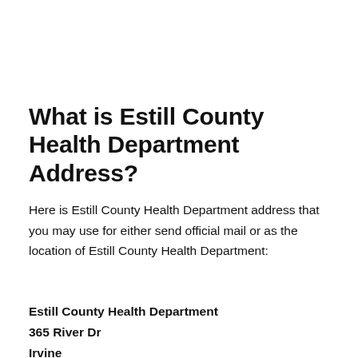What is Estill County Health Department Address?
Here is Estill County Health Department address that you may use for either send official mail or as the location of Estill County Health Department:
Estill County Health Department
365 River Dr
Irvine